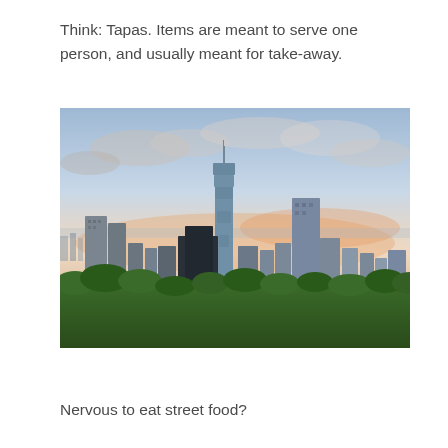Think: Tapas. Items are meant to serve one person, and usually meant for take-away.
[Figure (photo): Aerial cityscape of Taipei at dusk showing Taipei 101 skyscraper prominently in the center, surrounded by other high-rise buildings, with lush green trees in the foreground and a cloudy sky with pink and blue hues in the background.]
Nervous to eat street food?